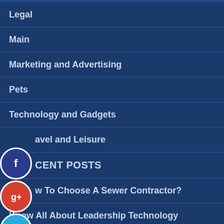Legal
Main
Marketing and Advertising
Pets
Technology and Gadgets
Travel and Leisure
RECENT POSTS
How To Choose A Sewer Contractor?
Know All About Leadership Technology